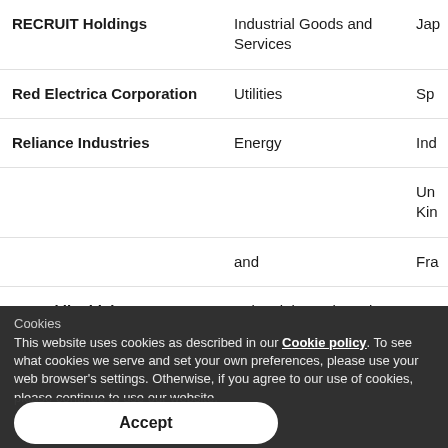| Company | Sector | Country |
| --- | --- | --- |
| RECRUIT Holdings | Industrial Goods and Services | Jap... |
| Red Electrica Corporation | Utilities | Sp... |
| Reliance Industries | Energy | Ind... |
|  |  | Un...
Kin... |
|  | ...and | Fra... |
| Rentokil Initial | Industrial Goods and Services | Un...
Kin... |
Cookies
This website uses cookies as described in our Cookie policy. To see what cookies we serve and set your own preferences, please use your web browser's settings. Otherwise, if you agree to our use of cookies, please continue to use our website.
Accept